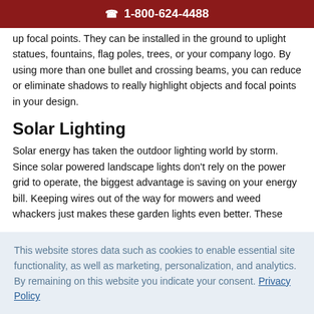1-800-624-4488
up focal points. They can be installed in the ground to uplight statues, fountains, flag poles, trees, or your company logo. By using more than one bullet and crossing beams, you can reduce or eliminate shadows to really highlight objects and focal points in your design.
Solar Lighting
Solar energy has taken the outdoor lighting world by storm. Since solar powered landscape lights don't rely on the power grid to operate, the biggest advantage is saving on your energy bill. Keeping wires out of the way for mowers and weed whackers just makes these garden lights even better. These
This website stores data such as cookies to enable essential site functionality, as well as marketing, personalization, and analytics. By remaining on this website you indicate your consent. Privacy Policy